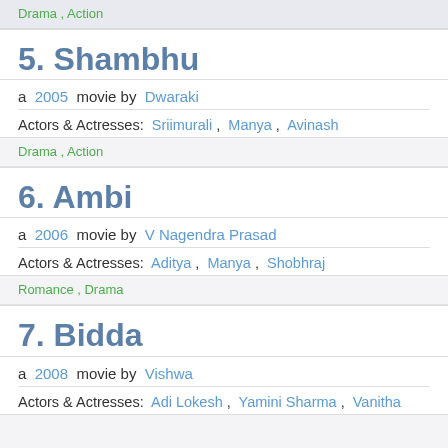Drama , Action
5. Shambhu
a 2005 movie by Dwaraki
Actors & Actresses: Sriimurali , Manya , Avinash
Drama , Action
6. Ambi
a 2006 movie by V Nagendra Prasad
Actors & Actresses: Aditya , Manya , Shobhraj
Romance , Drama
7. Bidda
a 2008 movie by Vishwa
Actors & Actresses: Adi Lokesh , Yamini Sharma , Vanitha